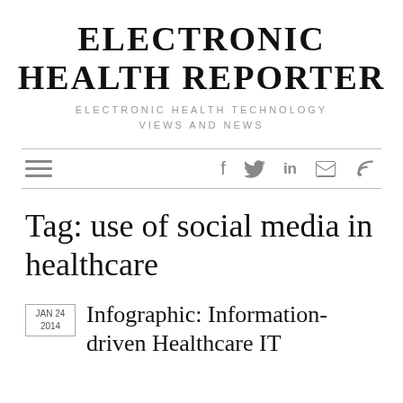ELECTRONIC HEALTH REPORTER
ELECTRONIC HEALTH TECHNOLOGY VIEWS AND NEWS
Tag: use of social media in healthcare
JAN 24 2014  Infographic: Information-driven Healthcare IT